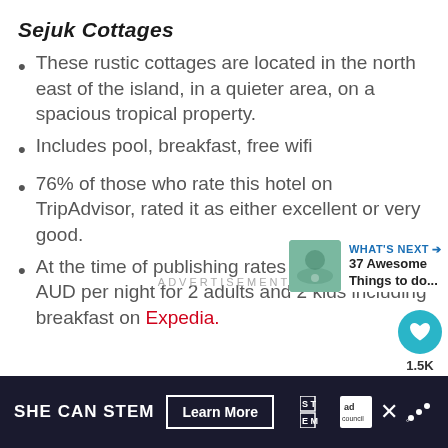Sejuk Cottages
These rustic cottages are located in the north east of the island, in a quieter area, on a spacious tropical property.
Includes pool, breakfast, free wifi
76% of those who rate this hotel on TripAdvisor, rated it as either excellent or very good.
At the time of publishing rates were from $61 AUD per night for 2 adults and 2 kids including breakfast on Expedia.
ADVERTISEMENT
WHAT'S NEXT → 37 Awesome Things to do...
SHE CAN STEM Learn More